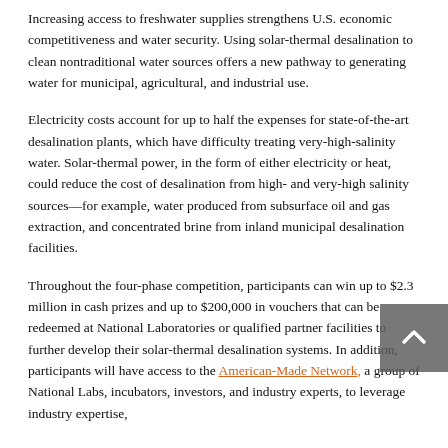Increasing access to freshwater supplies strengthens U.S. economic competitiveness and water security. Using solar-thermal desalination to clean nontraditional water sources offers a new pathway to generating water for municipal, agricultural, and industrial use.
Electricity costs account for up to half the expenses for state-of-the-art desalination plants, which have difficulty treating very-high-salinity water. Solar-thermal power, in the form of either electricity or heat, could reduce the cost of desalination from high- and very-high salinity sources—for example, water produced from subsurface oil and gas extraction, and concentrated brine from inland municipal desalination facilities.
Throughout the four-phase competition, participants can win up to $2.3 million in cash prizes and up to $200,000 in vouchers that can be redeemed at National Laboratories or qualified partner facilities to further develop their solar-thermal desalination systems. In addition, participants will have access to the American-Made Network, a group of National Labs, incubators, investors, and industry experts, to leverage industry expertise,